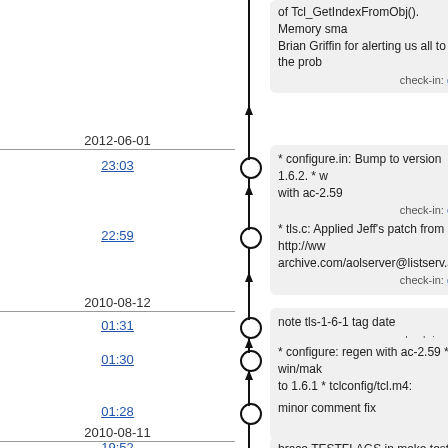of Tcl_GetIndexFromObj(). Memory sma... Brian Griffin for alerting us all to the prob...
check-in: g...
2012-06-01
23:03
* configure.in: Bump to version 1.6.2. * w... with ac-2.59
check-in: e...
22:59
* tls.c: Applied Jeff's patch from http://ww... archive.com/aolserver@listserv.aol.com/...
check-in: g...
2010-08-12
01:31
note tls-1-6-1 tag date
check-in: 4...
01:30
* configure: regen with ac-2.59 * win/mak... to 1.6.1 * tclconfig/tcl.m4: updated to TE...
ch...
01:28
minor comment fix
c...
2010-08-11
19:52
brace TESTFLAGS in make test